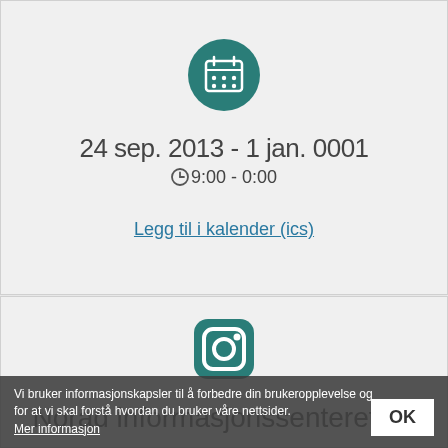[Figure (illustration): Teal circular calendar icon with white calendar grid graphic]
24 sep. 2013 - 1 jan. 0001
⏱ 9:00 - 0:00
Legg til i kalender (ics)
[Figure (logo): Teal rounded square Instagram camera icon]
Norad informasjonssenteret, 6.
Vi bruker informasjonskapsler til å forbedre din brukeropplevelse og for at vi skal forstå hvordan du bruker våre nettsider.
Mer informasjon
OK